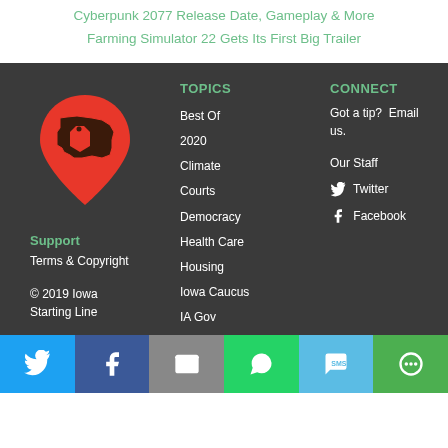Cyberpunk 2077 Release Date, Gameplay & More
Farming Simulator 22 Gets Its First Big Trailer
[Figure (logo): Iowa Starting Line logo — red map pin with Iowa state outline inside]
TOPICS
Best Of
2020
Climate
Courts
Democracy
Health Care
Housing
Iowa Caucus
IA Gov
CONNECT
Got a tip?  Email us.
Our Staff
Twitter
Facebook
Support
Terms & Copyright
© 2019 Iowa Starting Line
[Figure (infographic): Social sharing bar with 6 buttons: Twitter (blue), Facebook (dark blue), Email (gray), WhatsApp (green), SMS (light blue), More (green)]